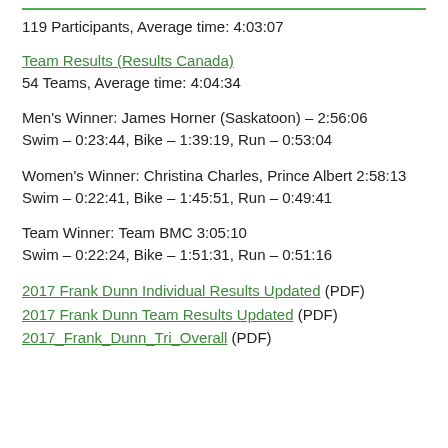119 Participants, Average time: 4:03:07
Team Results (Results Canada)
54 Teams, Average time: 4:04:34
Men's Winner: James Horner (Saskatoon) – 2:56:06
Swim – 0:23:44, Bike – 1:39:19, Run – 0:53:04
Women's Winner: Christina Charles, Prince Albert 2:58:13
Swim – 0:22:41, Bike – 1:45:51, Run – 0:49:41
Team Winner: Team BMC 3:05:10
Swim – 0:22:24, Bike – 1:51:31, Run – 0:51:16
2017 Frank Dunn Individual Results Updated (PDF)
2017 Frank Dunn Team Results Updated (PDF)
2017_Frank_Dunn_Tri_Overall (PDF)